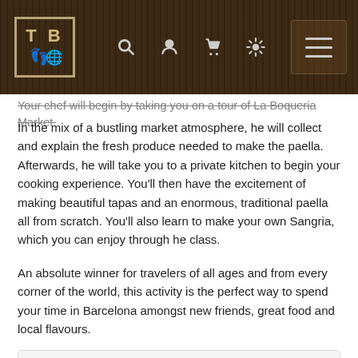TB [logo with foot and globe icons] [search, user, cart, settings icons] [hamburger menu]
Your chef will begin by taking you on a tour of La Boqueria Market. In the mix of a bustling market atmosphere, he will collect and explain the fresh produce needed to make the paella. Afterwards, he will take you to a private kitchen to begin your cooking experience. You'll then have the excitement of making beautiful tapas and an enormous, traditional paella all from scratch. You'll also learn to make your own Sangria, which you can enjoy through he class.
An absolute winner for travelers of all ages and from every corner of the world, this activity is the perfect way to spend your time in Barcelona amongst new friends, great food and local flavours.
| Field | Value |
| --- | --- |
| Duration: | 3 hours |
| Physical difficulty level : | Easy |